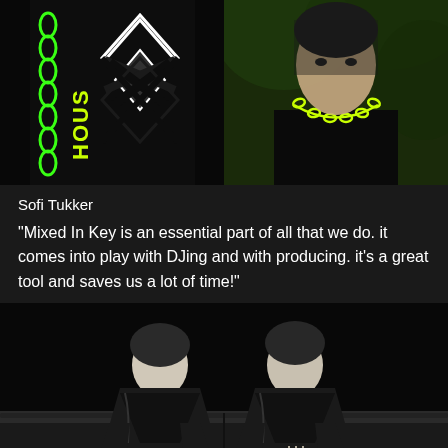[Figure (photo): Two side-by-side photos: left shows a person wearing a dark long-sleeve shirt with green chain print and 'HOUS' text with geometric logo; right shows a young woman in a dark top with a neon yellow chain necklace against a green foliage background]
Sofi Tukker
“Mixed In Key is an essential part of all that we do. it comes into play with DJing and with producing. it’s a great tool and saves us a lot of time!”
[Figure (photo): Black and white photo of two men in dark bomber jackets sitting on a leather couch. The man on the left leans forward with hands down, the man on the right has his hands pressed together in a prayer pose.]